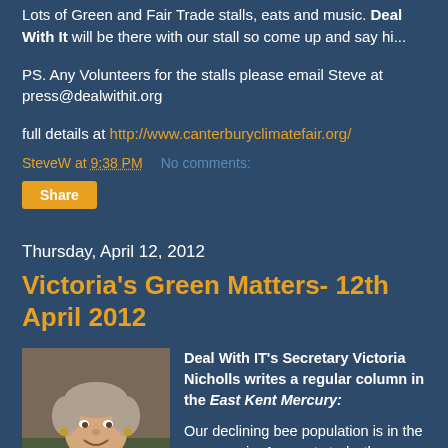Lots of Green and Fair Trade stalls, eats and music. Deal With It will be there with our stall so come up and say hi...
PS. Any Volunteers for the stalls please email Steve at press@dealwithit.org
full details at http://www.canterburyclimatefair.org/
SteveW at 9:38 PM    No comments:
Share
Thursday, April 12, 2012
Victoria's Green Matters- 12th April 2012
[Figure (photo): Portrait photo of Victoria Nicholls, a woman with short hair, smiling, wearing a red top, photographed outdoors in front of a brick wall]
Deal With IT's Secretary Victoria Nicholls writes a regular column in the East Kent Mercury:
Our declining bee population is in the news again. A recent study, the